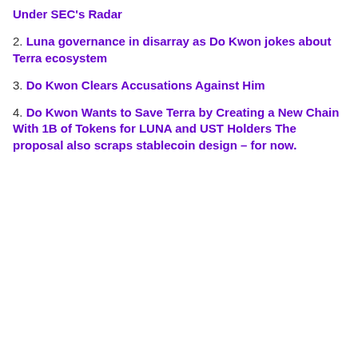Under SEC's Radar
2. Luna governance in disarray as Do Kwon jokes about Terra ecosystem
3. Do Kwon Clears Accusations Against Him
4. Do Kwon Wants to Save Terra by Creating a New Chain With 1B of Tokens for LUNA and UST Holders The proposal also scraps stablecoin design – for now.